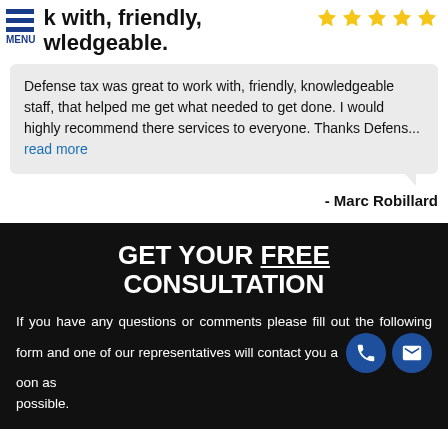k with, friendly, wledgeable.
Defense tax was great to work with, friendly, knowledgeable staff, that helped me get what needed to get done. I would highly recommend there services to everyone. Thanks Defens... read more
- Marc Robillard
GET YOUR FREE CONSULTATION
If you have any questions or comments please fill out the following form and one of our representatives will contact you as soon as possible.